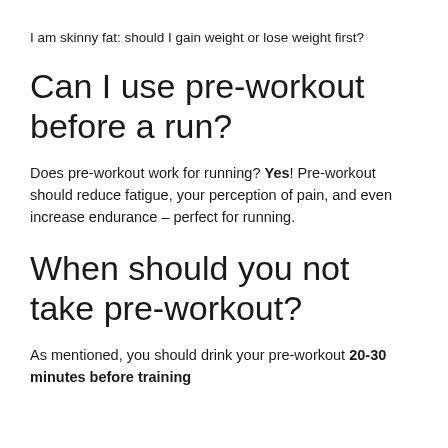I am skinny fat: should I gain weight or lose weight first?
Can I use pre-workout before a run?
Does pre-workout work for running? Yes! Pre-workout should reduce fatigue, your perception of pain, and even increase endurance – perfect for running.
When should you not take pre-workout?
As mentioned, you should drink your pre-workout 20-30 minutes before training